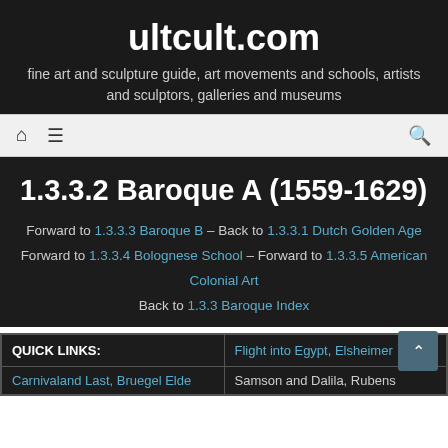ultcult.com
fine art and sculpture guide, art movements and schools, artists and sculptors, galleries and museums
1.3.3.2 Baroque A (1559-1629)
Forward to 1.3.3.3 Baroque B – Back to 1.3.3.1 Dutch Golden Age Forward to 1.3.4.4 Bolognese School – Forward to 1.3.3.5 American Colonial Art Back to 1.3.3 Baroque Index
| QUICK LINKS: | Flight into Egypt, Elsheimer |
| --- | --- |
| Carnivaland Last, Bruegel Elde | Samson and Dalila, Rubens |